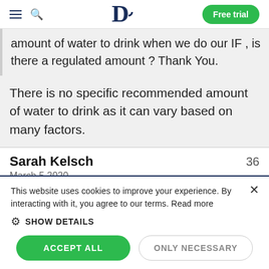D | Free trial
amount of water to drink when we do our IF , is there a regulated amount ? Thank You.
There is no specific recommended amount of water to drink as it can vary based on many factors.
Sarah Kelsch  36
March 5 2020
This website uses cookies to improve your experience. By interacting with it, you agree to our terms. Read more
⚙ SHOW DETAILS
ACCEPT ALL   ONLY NECESSARY